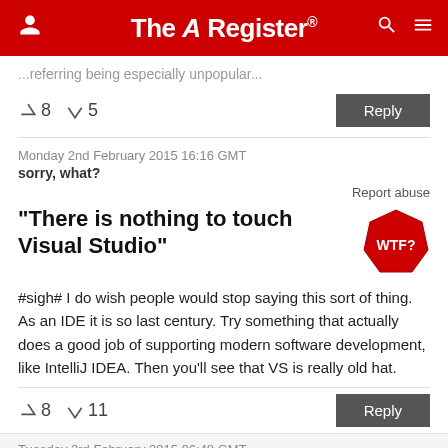The Register
...referring being especially unpopular...
↑8  ↓5   Reply
Monday 2nd February 2015 16:16 GMT
sorry, what?
Report abuse
"There is nothing to touch Visual Studio"
#sigh# I do wish people would stop saying this sort of thing. As an IDE it is so last century. Try something that actually does a good job of supporting modern software development, like IntelliJ IDEA. Then you'll see that VS is really old hat.
↑8  ↓11   Reply
Tuesday 3rd February 2015 06:48 GMT